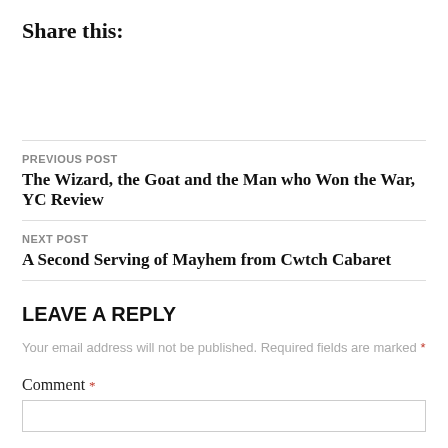Share this:
PREVIOUS POST
The Wizard, the Goat and the Man who Won the War, YC Review
NEXT POST
A Second Serving of Mayhem from Cwtch Cabaret
LEAVE A REPLY
Your email address will not be published. Required fields are marked *
Comment *